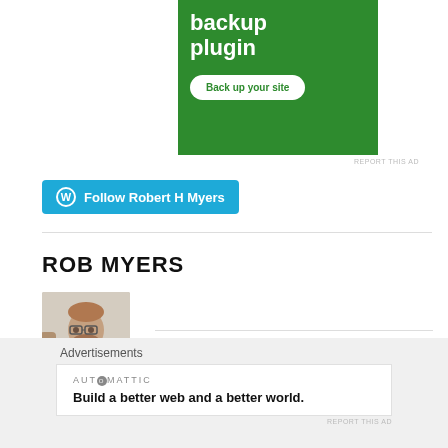[Figure (screenshot): Green advertisement banner showing 'backup plugin' text and a 'Back up your site' button]
REPORT THIS AD
[Figure (screenshot): Blue WordPress Follow button with WordPress logo icon and text 'Follow Robert H Myers']
ROB MYERS
[Figure (photo): Headshot photo of Rob Myers, a man with glasses and a beard]
Advertisements
[Figure (screenshot): Automattic advertisement: 'Build a better web and a better world.']
REPORT THIS AD